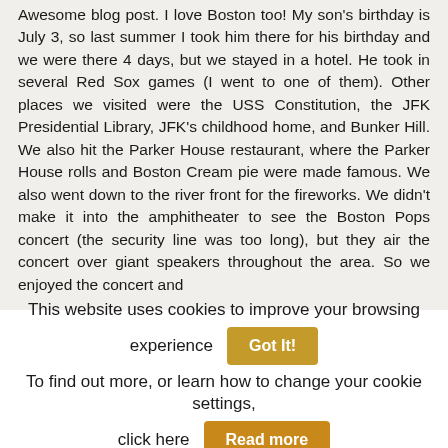Awesome blog post. I love Boston too! My son's birthday is July 3, so last summer I took him there for his birthday and we were there 4 days, but we stayed in a hotel. He took in several Red Sox games (I went to one of them). Other places we visited were the USS Constitution, the JFK Presidential Library, JFK's childhood home, and Bunker Hill. We also hit the Parker House restaurant, where the Parker House rolls and Boston Cream pie were made famous. We also went down to the river front for the fireworks. We didn't make it into the amphitheater to see the Boston Pops concert (the security line was too long), but they air the concert over giant speakers throughout the area. So we enjoyed the concert and
This website uses cookies to improve your browsing experience
Got It!
To find out more, or learn how to change your cookie settings, click here
Read more